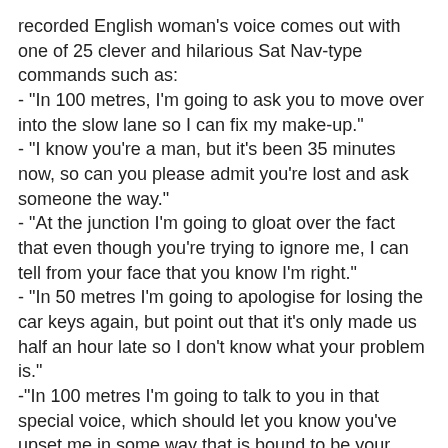recorded English woman's voice comes out with one of 25 clever and hilarious Sat Nav-type commands such as:
- "In 100 metres, I'm going to ask you to move over into the slow lane so I can fix my make-up."
- "I know you're a man, but it's been 35 minutes now, so can you please admit you're lost and ask someone the way."
- "At the junction I'm going to gloat over the fact that even though you're trying to ignore me, I can tell from your face that you know I'm right."
- "In 50 metres I'm going to apologise for losing the car keys again, but point out that it's only made us half an hour late so I don't know what your problem is."
-"In 100 metres I'm going to talk to you in that special voice, which should let you know you've upset me in some way that is bound to be your fault"